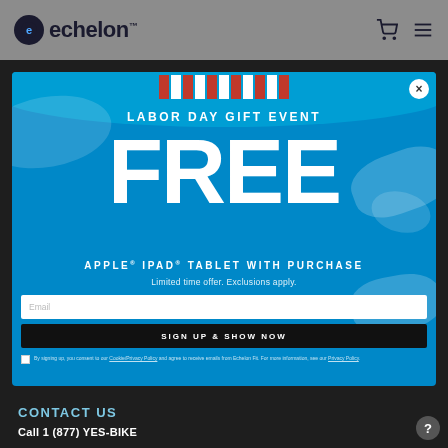echelon
[Figure (screenshot): Echelon Labor Day Gift Event modal popup on a dark website background. Modal has blue background with white paint splashes, red/white striped banner at top, large white 'FREE' text, 'LABOR DAY GIFT EVENT' header, 'APPLE® IPAD® TABLET WITH PURCHASE' subheading, 'Limited time offer. Exclusions apply.' disclaimer, email input field, 'SIGN UP & SHOW NOW' button, and fine print about Cookie/Privacy Policy.]
CONTACT US
Call 1 (877) YES-BIKE